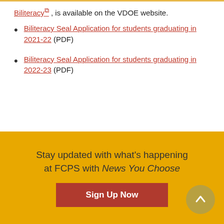Biliteracy , is available on the VDOE website.
Biliteracy Seal Application for students graduating in 2021-22 (PDF)
Biliteracy Seal Application for students graduating in 2022-23 (PDF)
Stay updated with what's happening at FCPS with News You Choose
Sign Up Now